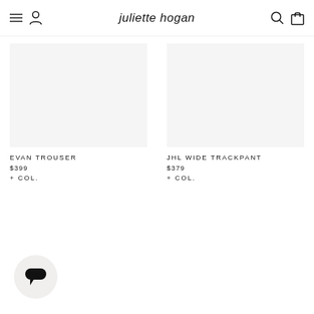juliette hogan
EVAN TROUSER
$399
+ COL.
JHL WIDE TRACKPANT
$379
+ COL.
[Figure (illustration): Chat widget button - circular button with chat bubble icon in bottom left corner]